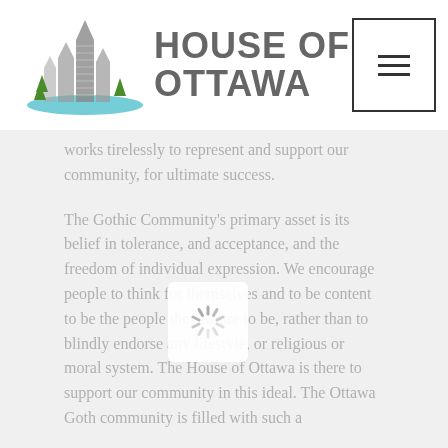HOUSE OF OTTAWA
works tirelessly to represent and support our community, for ultimate success.
The Gothic Community's primary asset is its belief in tolerance, and acceptance, and the freedom of individual expression. We encourage people to think for themselves and to be content to be the people they desire to be, rather than to blindly endorse any lifestyle, or religious or moral system. The House of Ottawa is there to support our community in this ideal. The Ottawa Goth community is filled with such a